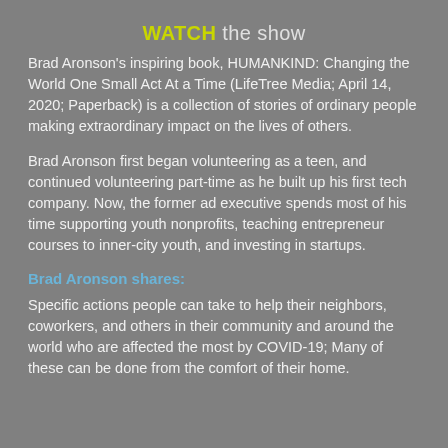WATCH the show
Brad Aronson's inspiring book, HUMANKIND: Changing the World One Small Act At a Time (LifeTree Media; April 14, 2020; Paperback) is a collection of stories of ordinary people making extraordinary impact on the lives of others.
Brad Aronson first began volunteering as a teen, and continued volunteering part-time as he built up his first tech company. Now, the former ad executive spends most of his time supporting youth nonprofits, teaching entrepreneur courses to inner-city youth, and investing in startups.
Brad Aronson shares:
Specific actions people can take to help their neighbors, coworkers, and others in their community and around the world who are affected the most by COVID-19; Many of these can be done from the comfort of their home.